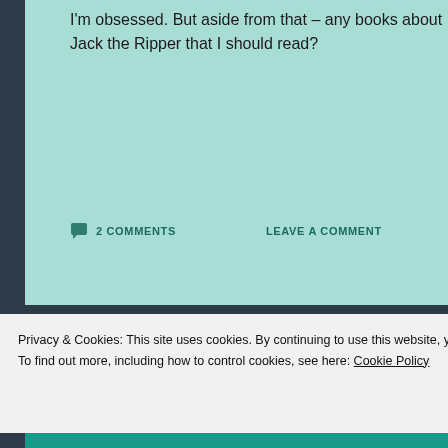I'm obsessed. But aside from that – any books about Jack the Ripper that I should read?
2 COMMENTS    LEAVE A COMMENT
All Abuzz over Buzz: A Stimulating History of the Sex Toy
Privacy & Cookies: This site uses cookies. By continuing to use this website, you agree to their use. To find out more, including how to control cookies, see here: Cookie Policy
Close and accept